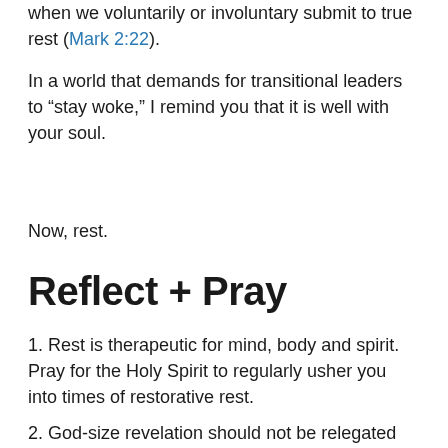when we voluntarily or involuntary submit to true rest (Mark 2:22).
In a world that demands for transitional leaders to “stay woke,” I remind you that it is well with your soul.
Now, rest.
Reflect + Pray
1. Rest is therapeutic for mind, body and spirit. Pray for the Holy Spirit to regularly usher you into times of restorative rest.
2. God-size revelation should not be relegated to...